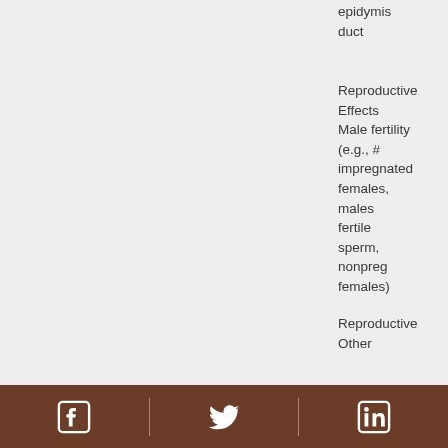epididymis duct
Reproductive Effects Male fertility (e.g., # impregnated females, males with fertile sperm, nonpregnant females)
Reproductive Other
Social media icons: Facebook, Twitter, LinkedIn